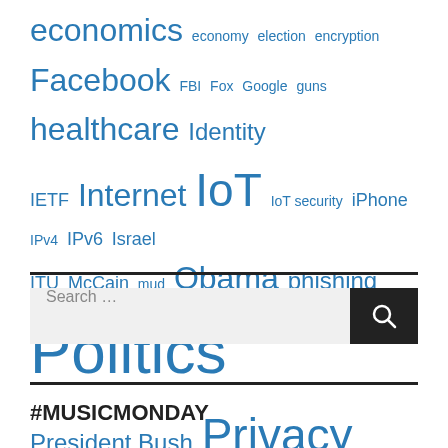[Figure (infographic): Tag cloud with various topics in blue, sized by frequency/importance. Tags include: economics, economy, election, encryption, Facebook, FBI, Fox, Google, guns, healthcare, Identity, IETF, Internet, IoT, IoT security, iPhone, IPv4, IPv6, Israel, ITU, McCain, mud, Obama, phishing, Politics, President Bush, Privacy, Republicans, right wing, security, silliness, stupid, Supreme Court, taxes, torture, TSA]
[Figure (screenshot): Search box with text 'Search ...' and a dark search button with magnifying glass icon]
#MUSICMONDAY